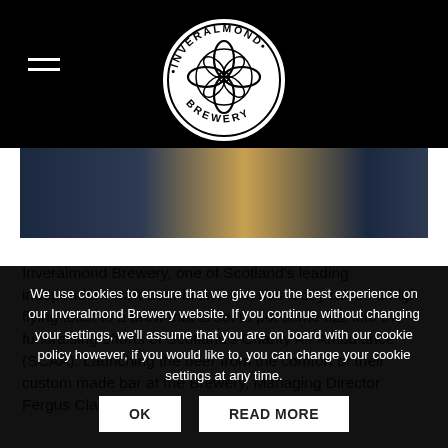[Figure (logo): Inveralmond Brewery circular logo with Celtic knot design, black and white, text reading INVERALMOND around top and BREWERY around bottom]
[Figure (photo): Photo strip showing people in dark clothing at a brewery]
Inveralmond Brewery, one of Scotland's leading independent craft-beer breweries, has today raised a high flying toast to a brew that is set to put some fizz into the fundraising efforts of Scotland's Charity Air Ambulance (SCAA). Launching the beer from the comfort of their custom made bar at the Brewery, Managing Director Fergus Clark was [...]
We use cookies to ensure that we give you the best experience on our Inveralmond Brewery website. If you continue without changing your settings, we'll assume that you are on board with our cookie policy however, if you would like to, you can change your cookie settings at any time.